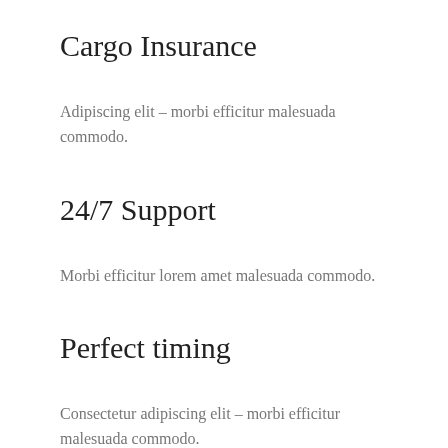Cargo Insurance
Adipiscing elit – morbi efficitur malesuada commodo.
24/7 Support
Morbi efficitur lorem amet malesuada commodo.
Perfect timing
Consectetur adipiscing elit – morbi efficitur malesuada commodo.